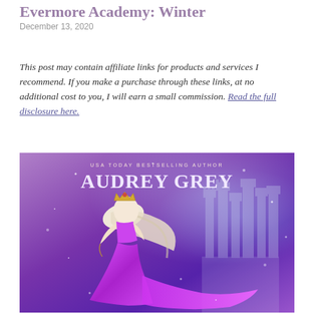Evermore Academy: Winter
December 13, 2020
This post may contain affiliate links for products and services I recommend. If you make a purchase through these links, at no additional cost to you, I will earn a small commission. Read the full disclosure here.
[Figure (photo): Book cover for Evermore Academy: Winter by Audrey Grey (USA Today Bestselling Author). Features a woman in a flowing purple gown with long white hair and a golden crown, standing before a fantasy castle on a purple/violet background with snow.]